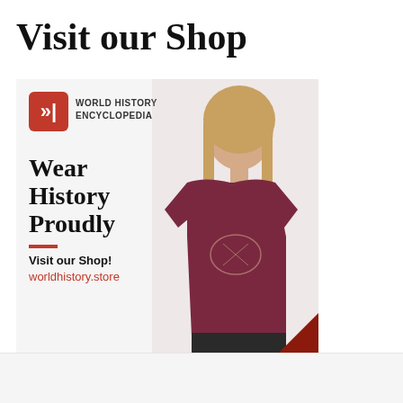Visit our Shop
[Figure (illustration): World History Encyclopedia shop advertisement showing a woman wearing a maroon t-shirt with a historical design. The ad contains the World History Encyclopedia logo (red square with arrows icon), tagline 'Wear History Proudly', a red divider line, text 'Visit our Shop!' and URL 'worldhistory.store'. A red triangle decorates the bottom-right corner.]
Support Us